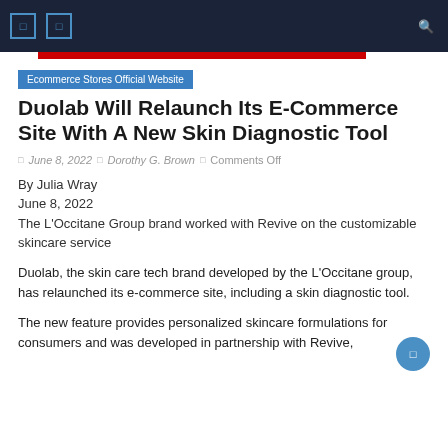Navigation bar with icons
[Figure (other): Red decorative bar below navigation]
Ecommerce Stores Official Website
Duolab Will Relaunch Its E-Commerce Site With A New Skin Diagnostic Tool
June 8, 2022  |  Dorothy G. Brown  |  Comments Off
By Julia Wray
June 8, 2022
The L'Occitane Group brand worked with Revive on the customizable skincare service
Duolab, the skin care tech brand developed by the L'Occitane group, has relaunched its e-commerce site, including a skin diagnostic tool.
The new feature provides personalized skincare formulations for consumers and was developed in partnership with Revive,